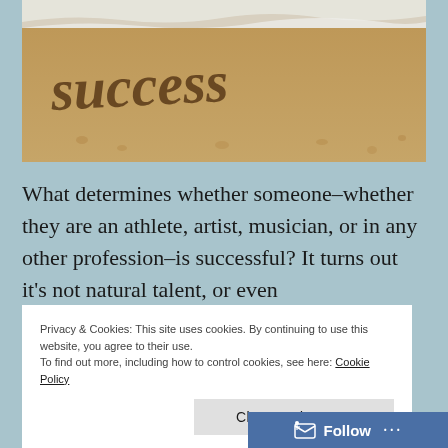[Figure (photo): Sepia-toned photograph of the word 'SUCCESS' written in sand on a beach, with ocean waves visible at the top edge.]
What determines whether someone–whether they are an athlete, artist, musician, or in any other profession–is successful? It turns out it's not natural talent, or even
Privacy & Cookies: This site uses cookies. By continuing to use this website, you agree to their use.
To find out more, including how to control cookies, see here: Cookie Policy
Close and accept